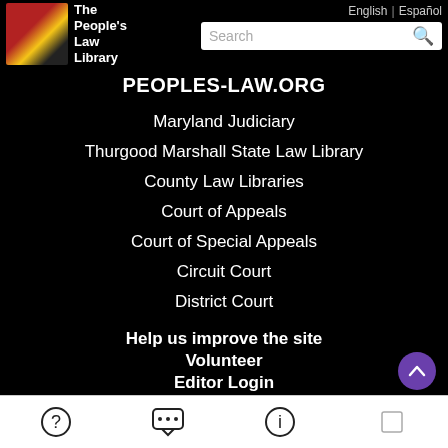[Figure (screenshot): The People's Law Library logo with Maryland flag imagery and white text]
English | Español
PEOPLES-LAW.ORG
Maryland Judiciary
Thurgood Marshall State Law Library
County Law Libraries
Court of Appeals
Court of Special Appeals
Circuit Court
District Court
Help us improve the site
Volunteer
Editor Login
? ... i